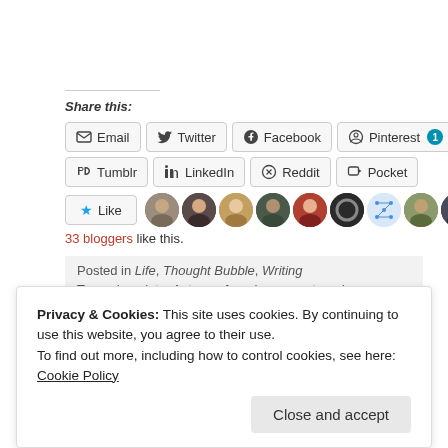Share this:
Email | Twitter | Facebook | Pinterest 1 | Tumblr | LinkedIn | Reddit | Pocket
[Figure (other): Like button with star icon and row of blogger avatar photos]
33 bloggers like this.
Posted in Life, Thought Bubble, Writing
Tagged anxiety, Autumn, fear, human nature, leaves, letting go,
Privacy & Cookies: This site uses cookies. By continuing to use this website, you agree to their use. To find out more, including how to control cookies, see here: Cookie Policy
Close and accept